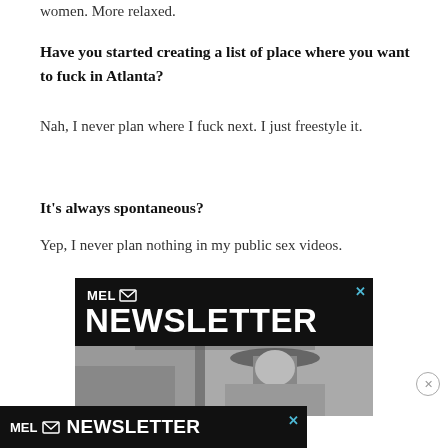women. More relaxed.
Have you started creating a list of place where you want to fuck in Atlanta?
Nah, I never plan where I fuck next. I just freestyle it.
It’s always spontaneous?
Yep, I never plan nothing in my public sex videos.
[Figure (other): MEL Newsletter advertisement banner with black background, white MEL logo with envelope icon, and NEWSLETTER text in large bold white letters, with a black and white photo of a person in a cowboy hat below. A teal X close button is in the top right corner.]
[Figure (other): MEL Newsletter sticky bottom advertisement with black background, white MEL logo with envelope icon and NEWSLETTER text in bold white. A teal X close button on the right side.]